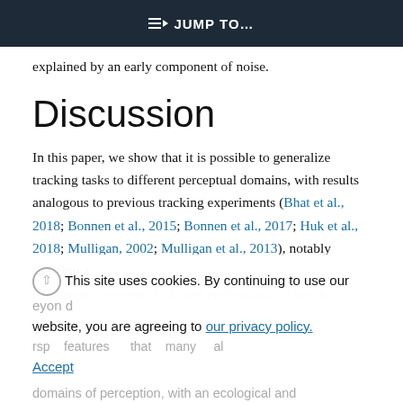JUMP TO...
explained by an early component of noise.
Discussion
In this paper, we show that it is possible to generalize tracking tasks to different perceptual domains, with results analogous to previous tracking experiments (Bhat et al., 2018; Bonnen et al., 2015; Bonnen et al., 2017; Huk et al., 2018; Mulligan, 2002; Mulligan et al., 2013), notably showing a dependency between SNR and performance. Thus, it
This site uses cookies. By continuing to use our website, you are agreeing to our privacy policy. Accept
domains of perception, with an ecological and